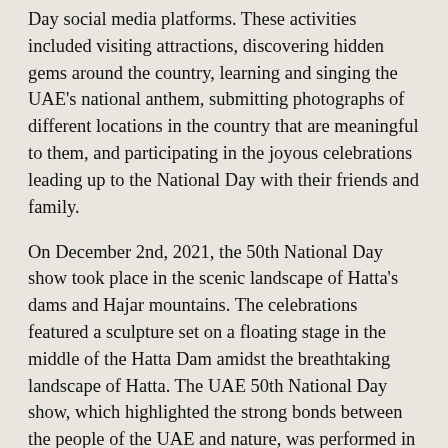Day social media platforms. These activities included visiting attractions, discovering hidden gems around the country, learning and singing the UAE's national anthem, submitting photographs of different locations in the country that are meaningful to them, and participating in the joyous celebrations leading up to the National Day with their friends and family.
On December 2nd, 2021, the 50th National Day show took place in the scenic landscape of Hatta's dams and Hajar mountains. The celebrations featured a sculpture set on a floating stage in the middle of the Hatta Dam amidst the breathtaking landscape of Hatta. The UAE 50th National Day show, which highlighted the strong bonds between the people of the UAE and nature, was performed in chapters detailing UAE's pre-union, historical moments from the last fifty years, and imagining the UAE's Future in the next fifty years.
400 Pyro Drones released flares and Pyrotechnics during